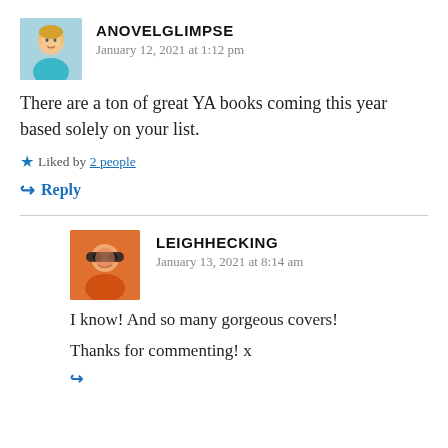[Figure (photo): Avatar photo of anovelglimpse: a blonde woman smiling wearing a teal shirt]
ANOVELGLIMPSE
January 12, 2021 at 1:12 pm
There are a ton of great YA books coming this year based solely on your list.
Liked by 2 people
Reply
[Figure (photo): Avatar photo of leighhecking: a woman with sunglasses and an orange top]
LEIGHHECKING
January 13, 2021 at 8:14 am
I know! And so many gorgeous covers!

Thanks for commenting! x